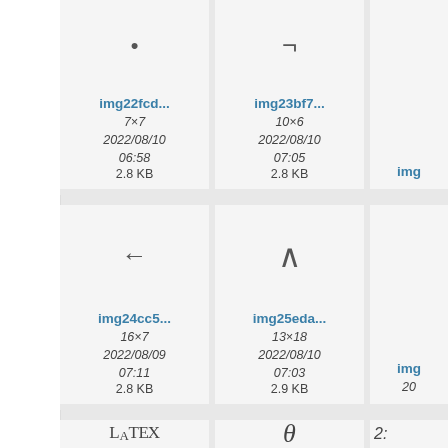[Figure (screenshot): Grid of image thumbnails with symbol previews. Row 1: cell showing bullet symbol, cell showing not-sign (¬), partial third cell. Row 2: cell showing left arrow (←), cell showing caret (∧), partial third cell. Row 3 (partial): LaTeX logo, theta symbol, partial number.]
img22fcd...
7×7
2022/08/10 06:58
2.8 KB
img23bf7...
10×6
2022/08/10 07:05
2.8 KB
img24cc5...
16×7
2022/08/09 07:11
2.8 KB
img25eda...
13×18
2022/08/10 07:03
2.9 KB